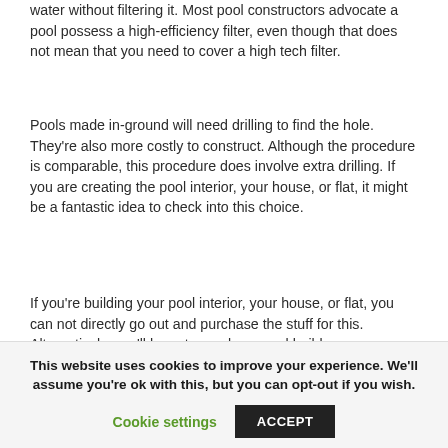water without filtering it. Most pool constructors advocate a pool possess a high-efficiency filter, even though that does not mean that you need to cover a high tech filter.
Pools made in-ground will need drilling to find the hole. They're also more costly to construct. Although the procedure is comparable, this procedure does involve extra drilling. If you are creating the pool interior, your house, or flat, it might be a fantastic idea to check into this choice.
If you're building your pool interior, your house, or flat, you can not directly go out and purchase the stuff for this. Alternatively, you'll have to employ a pool builder
This website uses cookies to improve your experience. We'll assume you're ok with this, but you can opt-out if you wish.
Cookie settings
ACCEPT